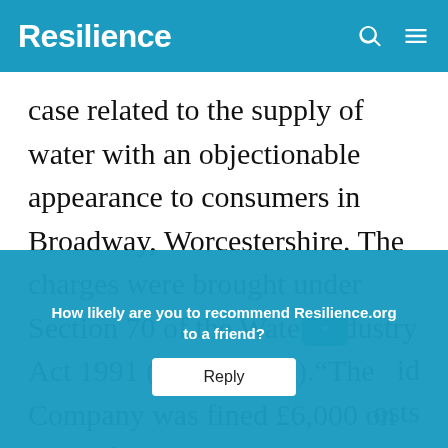Resilience
case related to the supply of water with an objectionable appearance to consumers in Broadway, Worcestershire. The charges were brought under Section 70 of the Water Industry Act 1991 (as amended).“The Company was fined £6,000 on each of e[leven] [counts and ord]ered to [pay c]osts
How likely are you to recommend Resilience.org to a friend?
Reply